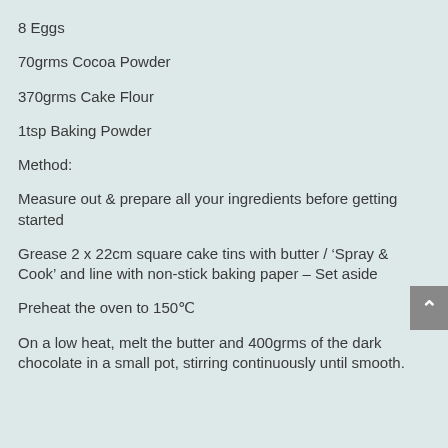8 Eggs
70grms Cocoa Powder
370grms Cake Flour
1tsp Baking Powder
Method:
Measure out & prepare all your ingredients before getting started
Grease 2 x 22cm square cake tins with butter / ‘Spray & Cook’ and line with non-stick baking paper – Set aside
Preheat the oven to 150°c
On a low heat, melt the butter and 400grms of the dark chocolate in a small pot, stirring continuously until smooth.